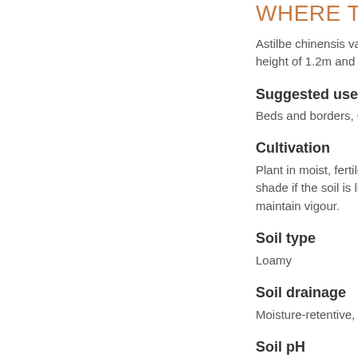WHERE TO GROV
Astilbe chinensis var. taqu height of 1.2m and a sprea
Suggested uses
Beds and borders, Cottag
Cultivation
Plant in moist, fertile, hum shade if the soil is likely to maintain vigour.
Soil type
Loamy
Soil drainage
Moisture-retentive, Moist b
Soil pH
Acid, Alkaline, Neutral
Light
Partial Shade, Full Sun
Aspect